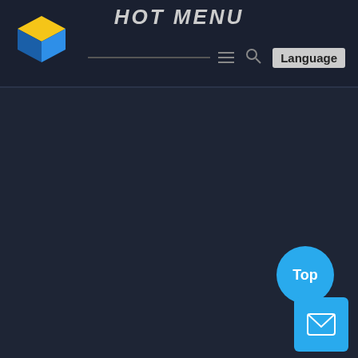HOT MENU
[Figure (logo): Cube-shaped logo with yellow top face and blue front/side faces]
Language
[Figure (other): Dark background main content area, largely empty]
[Figure (other): Blue circular Top button in bottom-right corner]
[Figure (other): Blue rounded rectangle mail/envelope button in bottom-right corner]